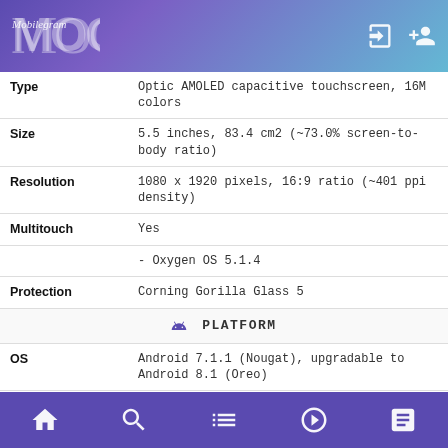Mobilegram
| Property | Value |
| --- | --- |
| Type | Optic AMOLED capacitive touchscreen, 16M colors |
| Size | 5.5 inches, 83.4 cm2 (~73.0% screen-to-body ratio) |
| Resolution | 1080 x 1920 pixels, 16:9 ratio (~401 ppi density) |
| Multitouch | Yes |
|  | - Oxygen OS 5.1.4 |
| Protection | Corning Gorilla Glass 5 |
|  | PLATFORM |
| OS | Android 7.1.1 (Nougat), upgradable to Android 8.1 (Oreo) |
| Chipset | Qualcomm MSM8998 Snapdragon 835 (10 nm) |
| CPU | Octa-core (4x2.45 GHz Kryo & 4x1.9 GHz Kryo) |
| GPU | Adreno 540 |
|  | MEMORY |
Home Search List Video News